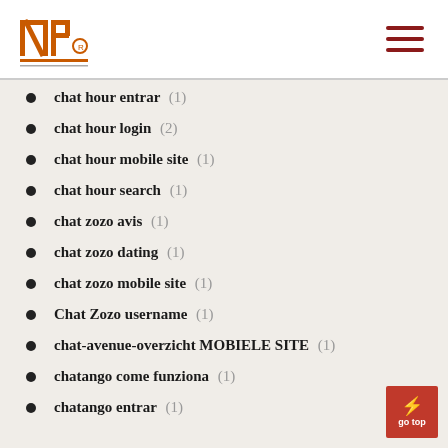INP logo and navigation
chat hour entrar (1)
chat hour login (2)
chat hour mobile site (1)
chat hour search (1)
chat zozo avis (1)
chat zozo dating (1)
chat zozo mobile site (1)
Chat Zozo username (1)
chat-avenue-overzicht MOBIELE SITE (1)
chatango come funziona (1)
chatango entrar (1)